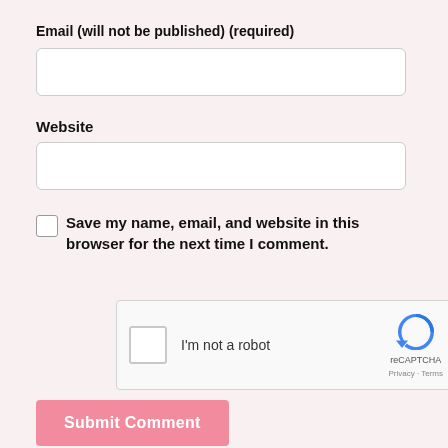Email (will not be published) (required)
[Figure (other): Empty email text input field]
Website
[Figure (other): Empty website text input field]
Save my name, email, and website in this browser for the next time I comment.
[Figure (other): reCAPTCHA widget with checkbox and 'I'm not a robot' label]
[Figure (other): Submit Comment button in pink]